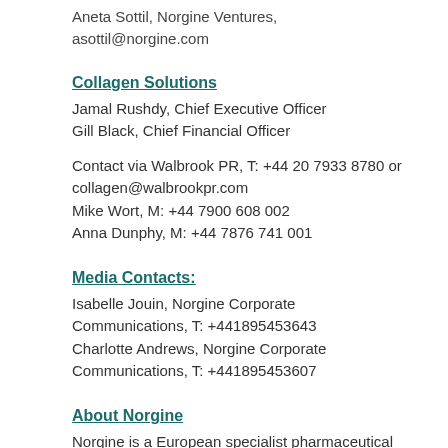Aneta Sottil, Norgine Ventures, asottil@norgine.com
Collagen Solutions
Jamal Rushdy, Chief Executive Officer
Gill Black, Chief Financial Officer
Contact via Walbrook PR, T: +44 20 7933 8780 or collagen@walbrookpr.com
Mike Wort, M: +44 7900 608 002
Anna Dunphy, M: +44 7876 741 001
Media Contacts:
Isabelle Jouin, Norgine Corporate Communications, T: +441895453643
Charlotte Andrews, Norgine Corporate Communications, T: +441895453607
About Norgine
Norgine is a European specialist pharmaceutical company that has been established for over 100